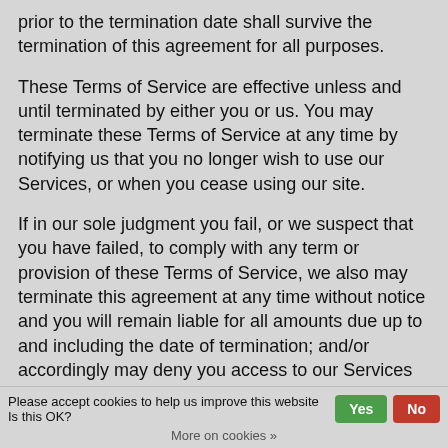prior to the termination date shall survive the termination of this agreement for all purposes.
These Terms of Service are effective unless and until terminated by either you or us. You may terminate these Terms of Service at any time by notifying us that you no longer wish to use our Services, or when you cease using our site.
If in our sole judgment you fail, or we suspect that you have failed, to comply with any term or provision of these Terms of Service, we also may terminate this agreement at any time without notice and you will remain liable for all amounts due up to and including the date of termination; and/or accordingly may deny you access to our Services (or any part thereof).
Please accept cookies to help us improve this website Is this OK?
More on cookies »